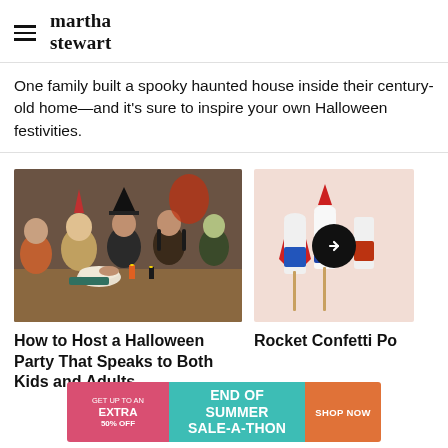martha stewart
One family built a spooky haunted house inside their century-old home—and it's sure to inspire your own Halloween festivities.
[Figure (photo): Children in Halloween costumes gathered around a table doing Halloween crafts and activities, with candles and decorations visible.]
[Figure (photo): Red, white, and blue rocket confetti poppers against a pink background, partially visible with a black circular arrow button overlay.]
How to Host a Halloween Party That Speaks to Both Kids and Adults
Rocket Confetti Po
[Figure (infographic): Advertisement banner: GET UP TO AN EXTRA 50% OFF | END OF SUMMER SALE-A-THON | SHOP NOW]